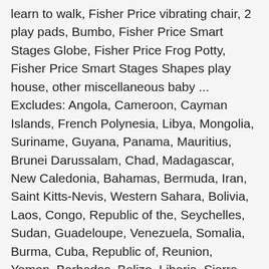learn to walk, Fisher Price vibrating chair, 2 play pads, Bumbo, Fisher Price Smart Stages Globe, Fisher Price Frog Potty, Fisher Price Smart Stages Shapes play house, other miscellaneous baby ... Excludes: Angola, Cameroon, Cayman Islands, French Polynesia, Libya, Mongolia, Suriname, Guyana, Panama, Mauritius, Brunei Darussalam, Chad, Madagascar, New Caledonia, Bahamas, Bermuda, Iran, Saint Kitts-Nevis, Western Sahara, Bolivia, Laos, Congo, Republic of the, Seychelles, Sudan, Guadeloupe, Venezuela, Somalia, Burma, Cuba, Republic of, Reunion, Yemen, Barbados, Belize, Liberia, Sierra Leone, Central African Republic, Martinique, Dominica, Niger, French Guiana, Saint Pierre and Miquelon. Something went wrong. Ingenuity Trio 3 In 1 High Chair Replacement Cover. Foldable Baby Shopping Trolley Cart Seat Cushion High Chair Cover Protector AU! ... Smart clean booster seat. Even the safety straps are machine washable. The item is shipped to KY and then sent to the rest of the world. Buckle can be hand washed or wiped for easy cleaning. We ship free! The unique EVA foam seat pad means cushioning comfort for baby